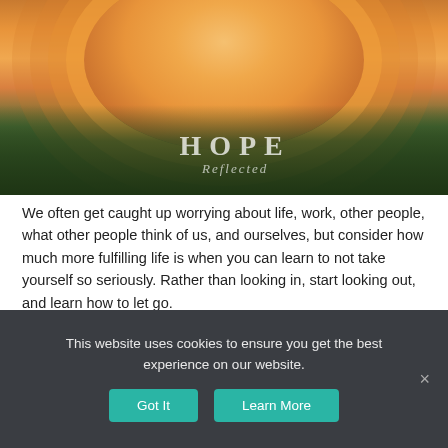[Figure (photo): Close-up photograph of an orange dahlia flower with green leaves in the background. Text overlay reads 'HOPE Reflected' in white/silver lettering.]
We often get caught up worrying about life, work, other people, what other people think of us, and ourselves, but consider how much more fulfilling life is when you can learn to not take yourself so seriously. Rather than looking in, start looking out, and learn how to let go.
Don't take yourself too seriously; learn to let go and to laugh. Nobody is perfect; we are all human, and we are all
This website uses cookies to ensure you get the best experience on our website.